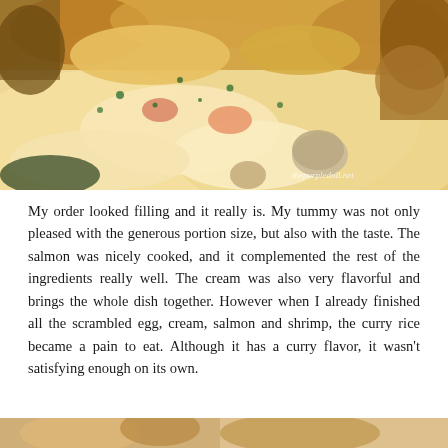[Figure (photo): Close-up photo of a creamy dish with salmon, shrimp, mushrooms, scrambled egg and curry rice, garnished with green herbs. Watermark reads 'thepurpledoll.net' in bottom right corner.]
My order looked filling and it really is. My tummy was not only pleased with the generous portion size, but also with the taste. The salmon was nicely cooked, and it complemented the rest of the ingredients really well. The cream was also very flavorful and brings the whole dish together. However when I already finished all the scrambled egg, cream, salmon and shrimp, the curry rice became a pain to eat. Although it has a curry flavor, it wasn't satisfying enough on its own.
[Figure (photo): Partial view of another food dish at the bottom of the page.]